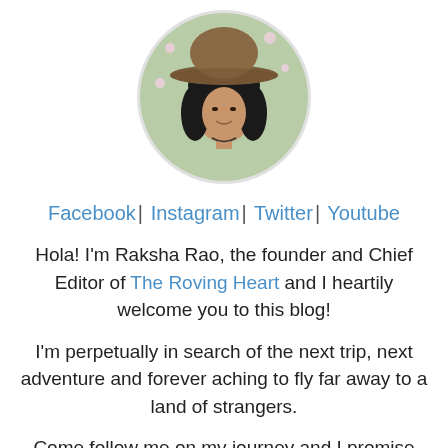[Figure (photo): Circular profile photo of a woman wearing a brown wide-brim hat, with dark hair, smiling, with flowers in background]
Facebook | Instagram | Twitter | Youtube
Hola! I'm Raksha Rao, the founder and Chief Editor of The Roving Heart and I heartily welcome you to this blog!
I'm perpetually in search of the next trip, next adventure and forever aching to fly far away to a land of strangers.
Come follow me on my journey and I promise